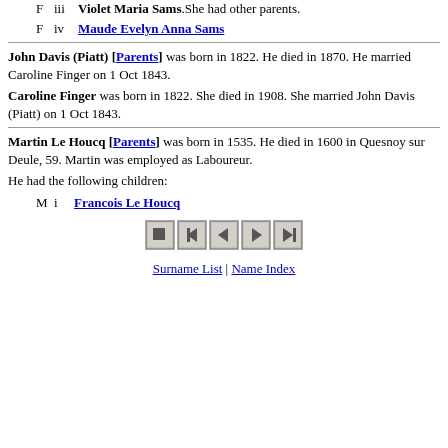F   iii   Violet Maria Sams. She had other parents.
F   iv   Maude Evelyn Anna Sams
John Davis (Piatt) [Parents] was born in 1822. He died in 1870. He married Caroline Finger on 1 Oct 1843.
Caroline Finger was born in 1822. She died in 1908. She married John Davis (Piatt) on 1 Oct 1843.
Martin Le Houcq [Parents] was born in 1535. He died in 1600 in Quesnoy sur Deule, 59. Martin was employed as Laboureur.
He had the following children:
M   i   Francois Le Houcq
[Figure (other): Navigation buttons: stop, skip-back, back, forward, skip-forward]
Surname List | Name Index